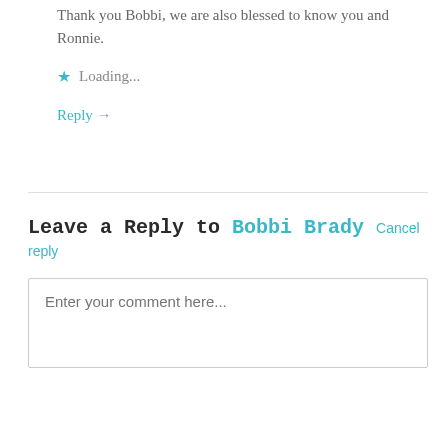Thank you Bobbi, we are also blessed to know you and Ronnie.
Loading...
Reply →
Leave a Reply to Bobbi Brady Cancel reply
Enter your comment here...